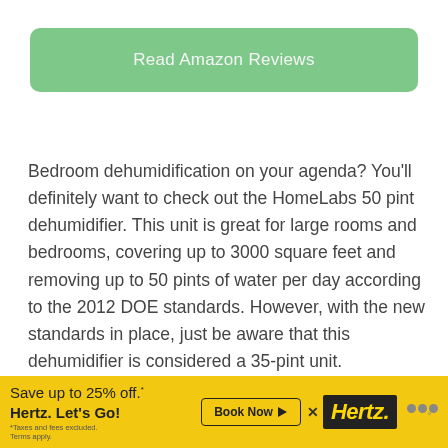[Figure (other): Green rounded button labeled 'Read Amazon Reviews']
Bedroom dehumidification on your agenda? You'll definitely want to check out the HomeLabs 50 pint dehumidifier. This unit is great for large rooms and bedrooms, covering up to 3000 square feet and removing up to 50 pints of water per day according to the 2012 DOE standards. However, with the new standards in place, just be aware that this dehumidifier is considered a 35-pint unit.
[Figure (other): Hertz advertisement banner: Save up to 25% off. Hertz. Let's Go! with Book Now button and Hertz logo]